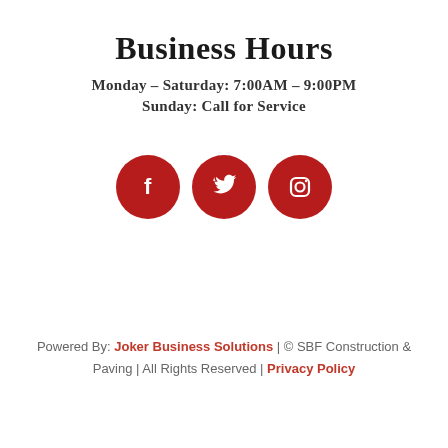Business Hours
Monday – Saturday: 7:00AM – 9:00PM
Sunday: Call for Service
[Figure (illustration): Three red circular social media icons: Facebook (f), Twitter (bird), Instagram (camera outline)]
Powered By: Joker Business Solutions | © SBF Construction & Paving | All Rights Reserved | Privacy Policy